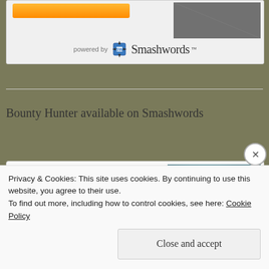[Figure (screenshot): Top widget card with orange button and book cover thumbnail, powered by Smashwords logo at bottom]
Bounty Hunter available on Smashwords
[Figure (screenshot): Book listing card showing 'Bounty Hunter' in bold, a Free Sample icon/text, and a book cover image with a couple on teal/blue background]
Privacy & Cookies: This site uses cookies. By continuing to use this website, you agree to their use.
To find out more, including how to control cookies, see here: Cookie Policy
Close and accept